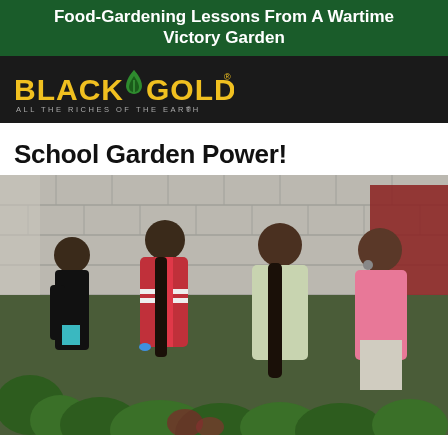Food-Gardening Lessons From A Wartime Victory Garden
[Figure (logo): Black Gold logo — 'BLACK GOLD' in yellow/gold bold text with a green leaf drop icon, subtitle 'ALL THE RICHES OF THE EARTH' on dark/black background]
School Garden Power!
[Figure (photo): Four school-age girls leaning over and working in a vegetable garden with large leafy green plants, against a brick/cinder block building background. The girls are wearing colorful clothing (black, pink/red, light green, pink).]